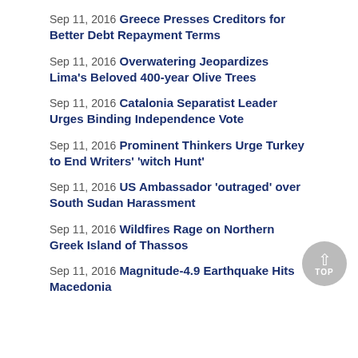Sep 11, 2016 Greece Presses Creditors for Better Debt Repayment Terms
Sep 11, 2016 Overwatering Jeopardizes Lima's Beloved 400-year Olive Trees
Sep 11, 2016 Catalonia Separatist Leader Urges Binding Independence Vote
Sep 11, 2016 Prominent Thinkers Urge Turkey to End Writers' 'witch Hunt'
Sep 11, 2016 US Ambassador 'outraged' over South Sudan Harassment
Sep 11, 2016 Wildfires Rage on Northern Greek Island of Thassos
Sep 11, 2016 Magnitude-4.9 Earthquake Hits Macedonia